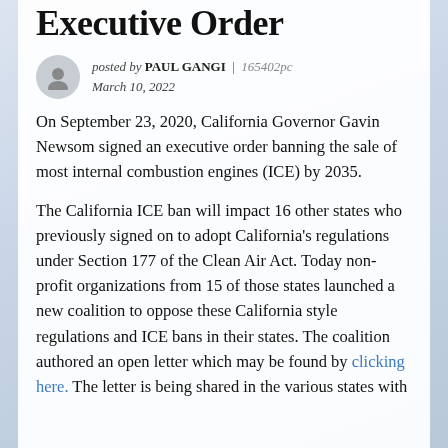Executive Order
posted by PAUL GANGI | 165402pc
March 10, 2022
On September 23, 2020, California Governor Gavin Newsom signed an executive order banning the sale of most internal combustion engines (ICE) by 2035.
The California ICE ban will impact 16 other states who previously signed on to adopt California's regulations under Section 177 of the Clean Air Act. Today non-profit organizations from 15 of those states launched a new coalition to oppose these California style regulations and ICE bans in their states. The coalition authored an open letter which may be found by clicking here. The letter is being shared in the various states with